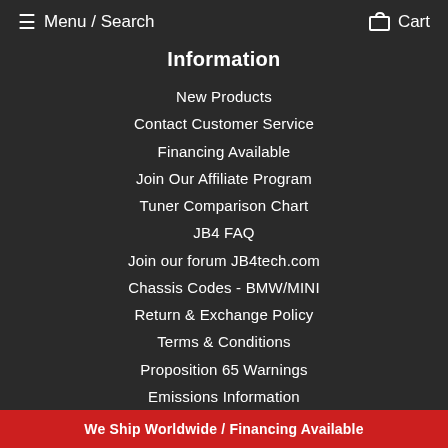≡ Menu / Search    🛒 Cart
Information
New Products
Contact Customer Service
Financing Available
Join Our Affiliate Program
Tuner Comparison Chart
JB4 FAQ
Join our forum JB4tech.com
Chassis Codes - BMW/MINI
Return & Exchange Policy
Terms & Conditions
Proposition 65 Warnings
Emissions Information
We Ship Worldwide / Financing Available